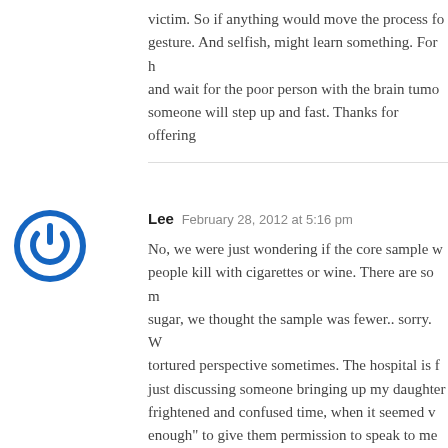victim. So if anything would move the process fo... gesture. And selfish, might learn something. For ... and wait for the poor person with the brain tumo... someone will step up and fast. Thanks for offering...
[Figure (logo): Blue circular power button / user avatar icon]
Lee  February 28, 2012 at 5:16 pm
No, we were just wondering if the core sample w... people kill with cigarettes or wine. There are so m... sugar, we thought the sample was fewer.. sorry. W... tortured perspective sometimes. The hospital is f... just discussing someone bringing up my daughter... frightened and confused time, when it seemed v... enough" to give them permission to speak to me... again or anyone else in that circumstance. And o... the sadist charge nurse saying "yes you might". A... thinking someone needs help. Nurse Ratchets ar... pinning you to the ground and saying you must...